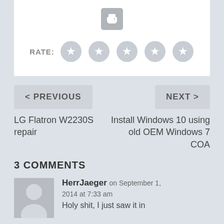[Figure (other): Print icon button (printer symbol in a rounded rectangle)]
RATE: ☆ ☆ ☆ ☆ ☆
< PREVIOUS
NEXT >
LG Flatron W2230S repair
Install Windows 10 using old OEM Windows 7 COA
3 COMMENTS
[Figure (illustration): User avatar placeholder icon (grey circle head and shoulders on grey background)]
HerrJaeger on September 1, 2014 at 7:33 am
Holy shit, I just saw it in